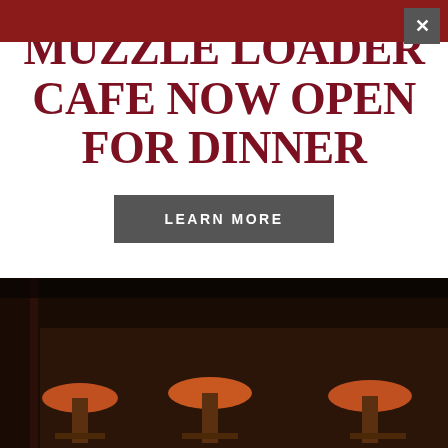MUZZLE LOADER CAFE NOW OPEN FOR DINNER
LEARN MORE
[Figure (screenshot): Website navigation bar showing a logo badge with 'EST. 1955' text and 'LOUNGE & CASINO' text on a grey background]
[Figure (photo): Dark interior photo of a bar or lounge with bar stools with orange seats visible in low light]